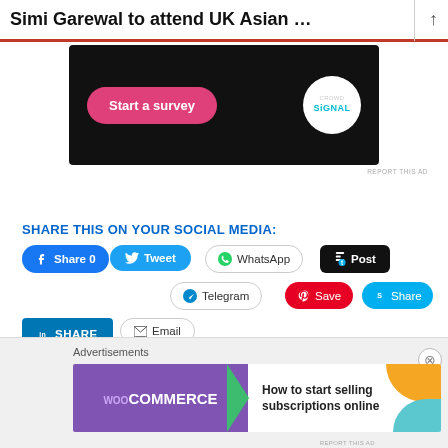Simi Garewal to attend UK Asian …
[Figure (screenshot): Advertisement banner with dark background showing a pink 'Start a survey' button and Crowd Signal logo on right]
REPORT THIS AD
SHARE THIS ON YOUR SOCIAL MEDIA:
Share 0 (Facebook)
Tweet (Twitter)
WhatsApp
Post (Tumblr)
Telegram
Save (Pinterest)
Share (Skype)
SHARE (LinkedIn)
Email
[Figure (screenshot): WooCommerce advertisement banner: 'How to start selling subscriptions online']